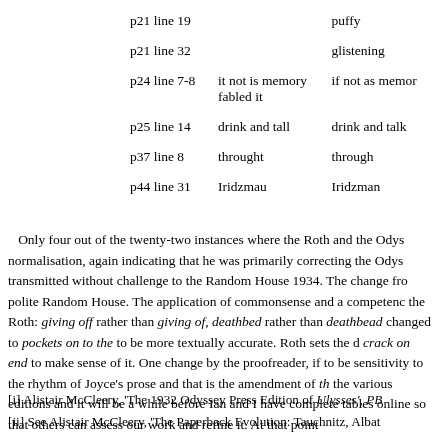| Location | Original | Correction |
| --- | --- | --- |
| p21 line 19 |  | puffy |
| p21 line 32 |  | glistening |
| p24 line 7-8 | it not is memory fabled it | if not as memor... |
| p25 line 14 | drink and tall | drink and talk |
| p37 line 8 | throught | through |
| p44 line 31 | Iridzmau | Iridzman |
Only four out of the twenty-two instances where the Roth and the Odys... normalisation, again indicating that he was primarily correcting the Odys... transmitted without challenge to the Random House 1934. The change fro... polite Random House. The application of commonsense and a competenc... the Roth: giving off rather than giving of, deathbed rather than deathbead... changed to pockets on to the to be more textually accurate. Roth sets the d... crack on end to make sense of it. One change by the proofreader, if to be ... sensitivity to the rhythm of Joyce's prose and that is the amendment of th... the various editions and it will be a while before Ian and I have complete... tables online so that others can assess our work and refine it. At that point...
[i] Alistair McCleery, 'The 1932 Odyssey Press Edition of Ulysses', PB...
[ii] See Alistair McCleery, 'The Paperback Evolution: Tauchnitz, Albat...